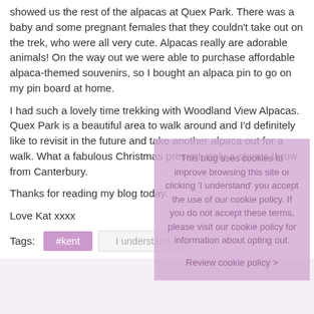showed us the rest of the alpacas at Quex Park. There was a baby and some pregnant females that they couldn't take out on the trek, who were all very cute. Alpacas really are adorable animals! On the way out we were able to purchase affordable alpaca-themed souvenirs, so I bought an alpaca pin to go on my pin board at home.
I had such a lovely time trekking with Woodland View Alpacas. Quex Park is a beautiful area to walk around and I'd definitely like to revisit in the future and take another alpaca out for a walk. What a fabulous Christmas present, only a stones throw from Canterbury.
Thanks for reading my blog today.
Love Kat xxxx
This blog uses cookies to improve browsing this site or clicking 'I understand' you accept the use of our cookie policy. If you do not accept these terms, please visit our cookie policy for information about opting out.
Review cookie policy >
Tags: #kent
I understand